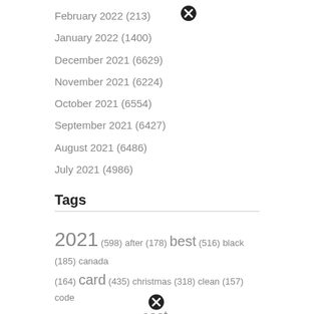February 2022 (213)
January 2022 (1400)
December 2021 (6629)
November 2021 (6224)
October 2021 (6554)
September 2021 (6427)
August 2021 (6486)
July 2021 (4986)
Tags
2021 (598) after (178) best (516) black (185) canada (164) card (435) christmas (318) clean (157) code (158) company (154) cost (329) date (161) does (651)